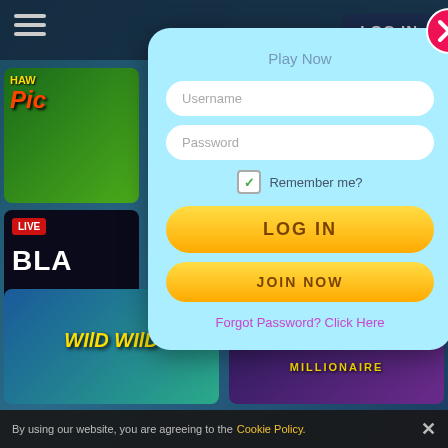[Figure (screenshot): Casino website background with game thumbnails including slots and live games, dark blue overlay, hamburger menu top left, LOG IN button top right]
Play Now
Username
Password
Remember me?
LOG IN
JOIN NOW
Forgot Password? Click Here
By using our website, you are agreeing to the Cookie Policy.